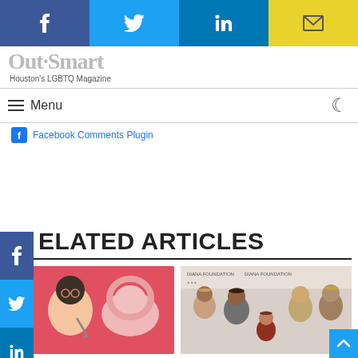Social share bar with Facebook, Twitter, LinkedIn, Email buttons
Out Smart - Houston's LGBTQ Magazine
Menu
Facebook Comments Plugin
RELATED ARTICLES
[Figure (illustration): Illustrated cartoon of a man with glasses and a lion on a red/pink background with a clover symbol]
[Figure (photo): Group photo of four people in costumes in front of Diana Foundation backdrop]